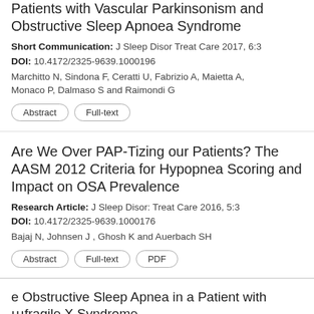Patients with Vascular Parkinsonism and Obstructive Sleep Apnoea Syndrome
Short Communication: J Sleep Disor Treat Care 2017, 6:3
DOI: 10.4172/2325-9639.1000196
Marchitto N, Sindona F, Ceratti U, Fabrizio A, Maietta A, Monaco P, Dalmaso S and Raimondi G
Abstract  Full-text
Are We Over PAP-Tizing our Patients? The AASM 2012 Criteria for Hypopnea Scoring and Impact on OSA Prevalence
Research Article: J Sleep Disor: Treat Care 2016, 5:3
DOI: 10.4172/2325-9639.1000176
Bajaj N, Johnsen J, Ghosh K and Auerbach SH
Abstract  Full-text  PDF
e Obstructive Sleep Apnea in a Patient with Fragile X Syndrome
Case Report: J Sleep Disor Treat C...